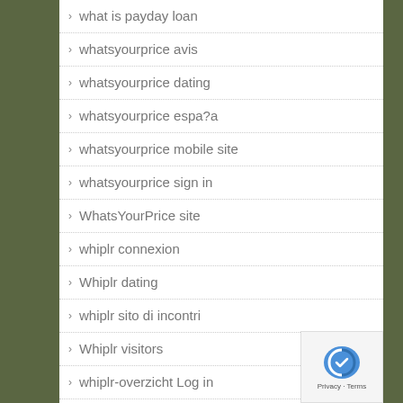what is payday loan
whatsyourprice avis
whatsyourprice dating
whatsyourprice espa?a
whatsyourprice mobile site
whatsyourprice sign in
WhatsYourPrice site
whiplr connexion
Whiplr dating
whiplr sito di incontri
Whiplr visitors
whiplr-overzicht Log in
whiplr-recenze recenzГ
White Dating Sites review
White Dating Sites reviews
White Dating Sites services